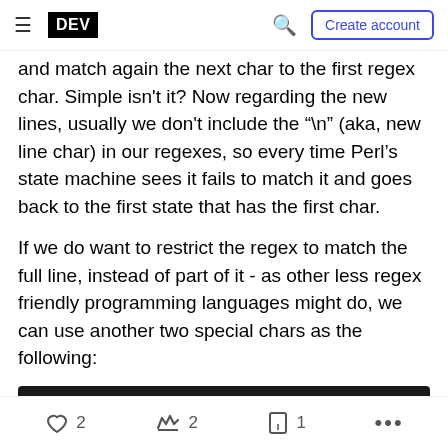DEV | Create account
and match again the next char to the first regex char. Simple isn't it? Now regarding the new lines, usually we don't include the "\n" (aka, new line char) in our regexes, so every time Perl's state machine sees it fails to match it and goes back to the first state that has the first char.
If we do want to restrict the regex to match the full line, instead of part of it - as other less regex friendly programming languages might do, we can use another two special chars as the following:
[Figure (screenshot): Code block showing: /^this is a full line that appears in the log f.]
2  2  1  ...